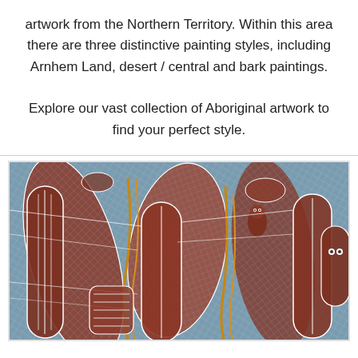artwork from the Northern Territory. Within this area there are three distinctive painting styles, including Arnhem Land, desert / central and bark paintings.

Explore our vast collection of Aboriginal artwork to find your perfect style.
[Figure (illustration): Aboriginal artwork painting featuring stylized human and animal figures with crosshatching patterns in brown, rust, blue-grey, and white with gold/yellow accent lines, typical of Arnhem Land style.]